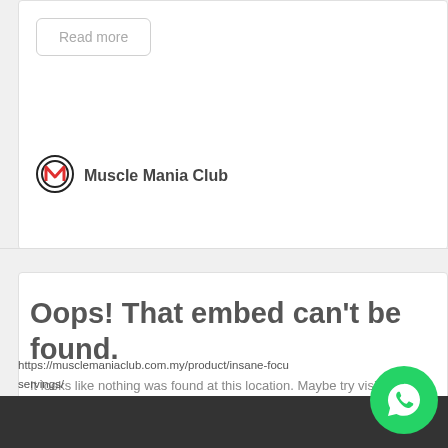Read more
[Figure (logo): Muscle Mania Club logo - circular icon with M letter]
Muscle Mania Club
Oops! That embed can't be found.
It looks like nothing was found at this location. Maybe try visiting Muscle Mania Club directly?
[Figure (logo): Muscle Mania Club logo - circular icon with M letter]
Muscle Mania Club
https://musclemaniaclub.com.my/product/insane-focus servings/
[Figure (logo): WhatsApp floating button - green circle with phone icon]